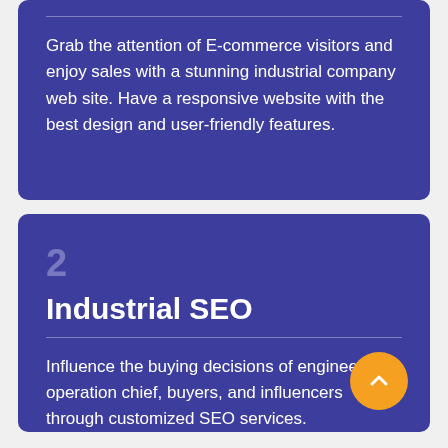Grab the attention of E-commerce visitors and enjoy sales with a stunning industrial company web site. Have a responsive website with the best design and user-friendly features.
2
Industrial SEO
Influence the buying decisions of engineers, operation chief, buyers, and influencers through customized SEO services.